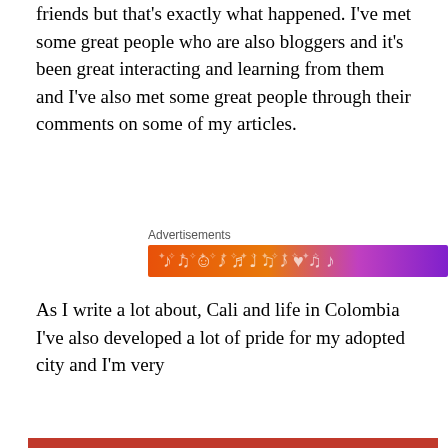friends but that's exactly what happened. I've met some great people who are also bloggers and it's been great interacting and learning from them and I've also met some great people through their comments on some of my articles.
[Figure (other): Advertisements banner with colorful gradient orange to purple with music note and emoji icons]
As I write a lot about, Cali and life in Colombia I've also developed a lot of pride for my adopted city and I'm very
Privacy & Cookies: This site uses cookies. By continuing to use this website, you agree to their use.
To find out more, including how to control cookies, see here: Cookie Policy